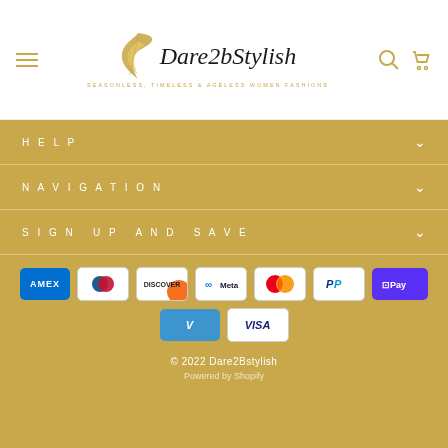[Figure (logo): Dare2bStylish logo with decorative feather/wing icon and tagline 'Seasonless, Timeless & Ageless Women Fashions']
HELP
NAVIGATION
SIGN UP AND SAVE
[Figure (infographic): Payment method logos: American Express, Diners Club, Discover, Meta Pay, Mastercard, PayPal, Shop Pay, Venmo, Visa]
© 2022 Dare2Bstylish